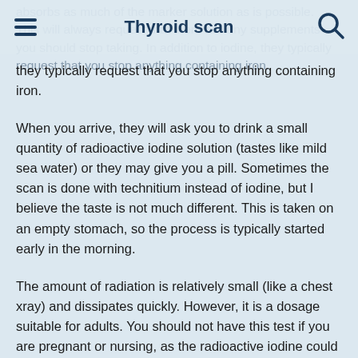Thyroid scan
absorbs as much of the marker solution as is possible. This will always request that there are any supplements you should stop taking. In addition to iodine, they typically request that you stop anything containing iron.
When you arrive, they will ask you to drink a small quantity of radioactive iodine solution (tastes like mild sea water) or they may give you a pill. Sometimes the scan is done with technitium instead of iodine, but I believe the taste is not much different. This is taken on an empty stomach, so the process is typically started early in the morning.
The amount of radiation is relatively small (like a chest xray) and dissipates quickly. However, it is a dosage suitable for adults. You should not have this test if you are pregnant or nursing, as the radioactive iodine could affect your baby's thyroid gland. If you have small children or clinging pets, ask your doctor or the technician if there are any restrictions